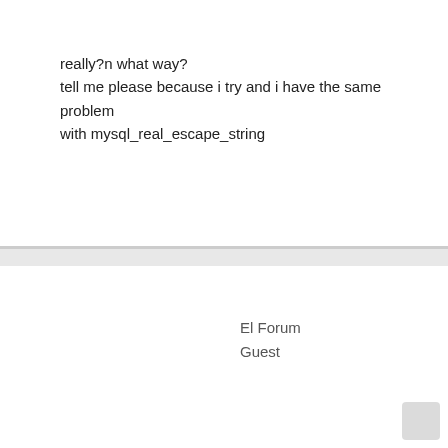really?n what way?
tell me please because i try and i have the same problem
with mysql_real_escape_string
El Forum
Guest
12-09-2013, 02:50 AM
#4
[eluser]noideawhattotypehere[/eluser]
Switch driver to PDO